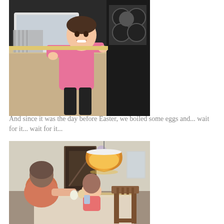[Figure (photo): A toddler in a pink long-sleeve shirt and black pants standing at a kitchen sink/counter, smiling at the camera. Kitchen background with stove visible.]
And since it was the day before Easter, we boiled some eggs and... wait for it... wait for it...
[Figure (photo): Two people sitting at a kitchen/dining table, apparently decorating Easter eggs. A stained-glass style pendant lamp hangs overhead. Wooden chairs visible and a doorway in the background.]